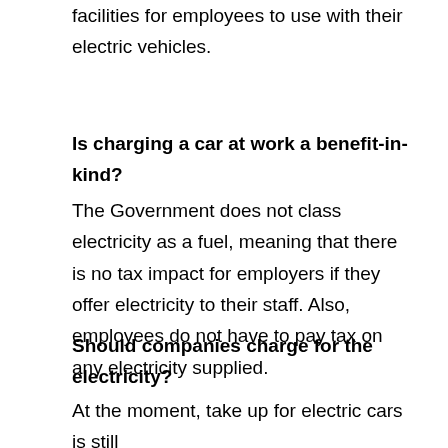facilities for employees to use with their electric vehicles.
Is charging a car at work a benefit-in-kind?
The Government does not class electricity as a fuel, meaning that there is no tax impact for employers if they offer electricity to their staff. Also, employees do not have to pay tax on any electricity supplied.
Should companies charge for the electricity?
At the moment, take up for electric cars is still relatively low, making the impact on a business allowing their employees to charge up at work a minor issue. However, once every member of staff starts coming in with their new electric cars, companies may